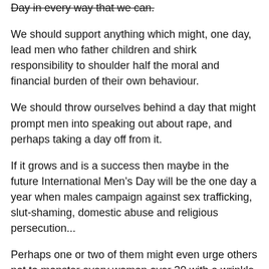Day in every way that we can.
We should support anything which might, one day, lead men who father children and shirk responsibility to shoulder half the moral and financial burden of their own behaviour.
We should throw ourselves behind a day that might prompt men into speaking out about rape, and perhaps taking a day off from it.
If it grows and is a success then maybe in the future International Men’s Day will be the one day a year when males campaign against sex trafficking, slut-shaming, domestic abuse and religious persecution...
Perhaps one or two of them might even urge others not to monster every woman over 30 with a wrinkle while expecting them to have the bikini body of a bulimic 12-year-old and the sexual skills of a wizened courtesan.